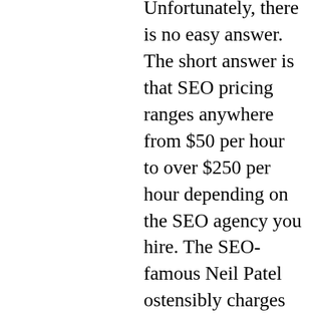Unfortunately, there is no easy answer. The short answer is that SEO pricing ranges anywhere from $50 per hour to over $250 per hour depending on the SEO agency you hire. The SEO-famous Neil Patel ostensibly charges up to $5,000, just for an initial hour-long consultation. All of that is not to say that your neighbor's' daughter down the street who is good" with computers" won't' offer to do it for $200 a month, and heck, she might even know what she's' doing! We're' also not saying that Neil Patel might not be worth that $5,000, price spoiler alert: if you're' not a Fortune 500 company, he most likely isn't. No matter who you ultimately trust to provide SEO services for your business, how much SEO ultimately costs depends on many variables, including.: